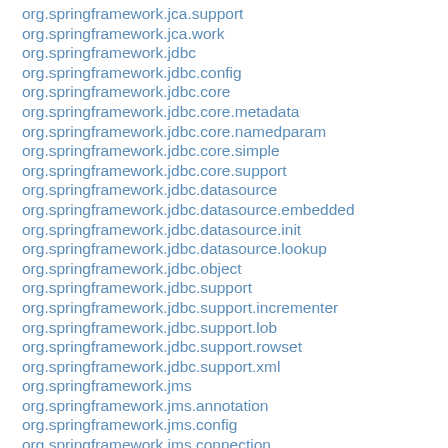org.springframework.jca.support
org.springframework.jca.work
org.springframework.jdbc
org.springframework.jdbc.config
org.springframework.jdbc.core
org.springframework.jdbc.core.metadata
org.springframework.jdbc.core.namedparam
org.springframework.jdbc.core.simple
org.springframework.jdbc.core.support
org.springframework.jdbc.datasource
org.springframework.jdbc.datasource.embedded
org.springframework.jdbc.datasource.init
org.springframework.jdbc.datasource.lookup
org.springframework.jdbc.object
org.springframework.jdbc.support
org.springframework.jdbc.support.incrementer
org.springframework.jdbc.support.lob
org.springframework.jdbc.support.rowset
org.springframework.jdbc.support.xml
org.springframework.jms
org.springframework.jms.annotation
org.springframework.jms.config
org.springframework.jms.connection
org.springframework.jms.core
org.springframework.jms.core.support
org.springframework.jms.listener
org.springframework.jms.listener.adapter
org.springframework.jms.listener.endpoint